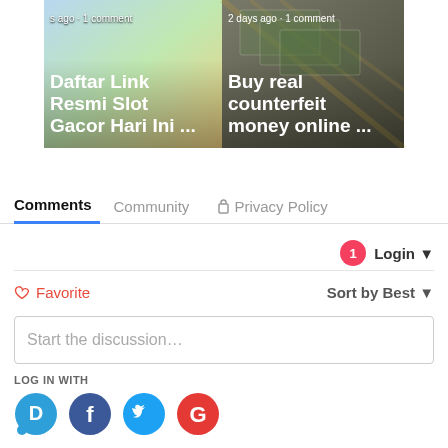[Figure (screenshot): Carousel with two article thumbnails: left shows 'Daftar Link Resmi Slot Gacor Hari Ini ...' with colorful background, right shows 'Buy real counterfeit money online ...' with money background. Navigation arrows on sides.]
Comments  Community  Privacy Policy
1  Login
♡ Favorite  Sort by Best
Start the discussion...
LOG IN WITH
[Figure (screenshot): Social login icons: Disqus (blue speech bubble with D), Facebook (blue circle with f), Twitter (light blue circle with bird), Google (red circle with G)]